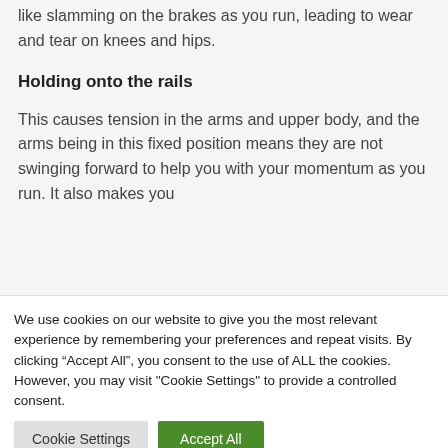like slamming on the brakes as you run, leading to wear and tear on knees and hips.
Holding onto the rails
This causes tension in the arms and upper body, and the arms being in this fixed position means they are not swinging forward to help you with your momentum as you run. It also makes you
We use cookies on our website to give you the most relevant experience by remembering your preferences and repeat visits. By clicking “Accept All”, you consent to the use of ALL the cookies. However, you may visit "Cookie Settings" to provide a controlled consent.
Cookie Settings
Accept All